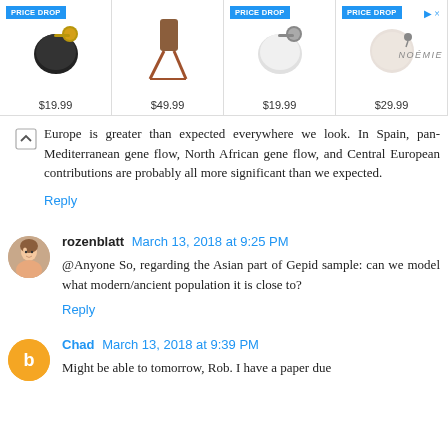[Figure (screenshot): Advertisement banner showing four products with prices: item at $19.99 (PRICE DROP), item at $49.99, item at $19.99 (PRICE DROP), item at $29.99 (PRICE DROP). NOÉMIE brand logo visible top right.]
Europe is greater than expected everywhere we look. In Spain, pan-Mediterranean gene flow, North African gene flow, and Central European contributions are probably all more significant than we expected.
Reply
rozenblatt March 13, 2018 at 9:25 PM
@Anyone So, regarding the Asian part of Gepid sample: can we model what modern/ancient population it is close to?
Reply
Chad March 13, 2018 at 9:39 PM
Might be able to tomorrow, Rob. I have a paper due